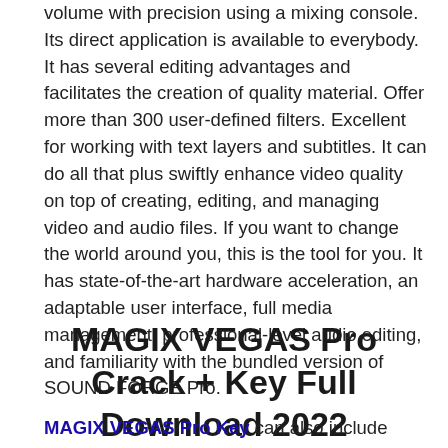volume with precision using a mixing console. Its direct application is available to everybody. It has several editing advantages and facilitates the creation of quality material. Offer more than 300 user-defined filters. Excellent for working with text layers and subtitles. It can do all that plus swiftly enhance video quality on top of creating, editing, and managing video and audio files. If you want to change the world around you, this is the tool for you. It has state-of-the-art hardware acceleration, an adaptable user interface, full media management, professional-level audio editing, and familiarity with the bundled version of SOUND FORGE Pro.
MAGIX VEGAS Pro Crack + Key Full Download 2022
MAGIX VEGAS Pro Key can also include media like movies and photographs. It has a comprehensive set of